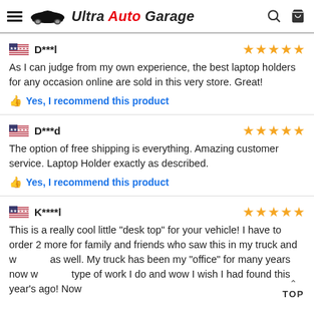Ultra Auto Garage
D***l
As I can judge from my own experience, the best laptop holders for any occasion online are sold in this very store. Great!
👍 Yes, I recommend this product
D***d
The option of free shipping is everything. Amazing customer service. Laptop Holder exactly as described.
👍 Yes, I recommend this product
K****l
This is a really cool little "desk top" for your vehicle! I have to order 2 more for family and friends who saw this in my truck and w as well. My truck has been my "office" for many years now w type of work I do and wow I wish I had found this year's ago! Now